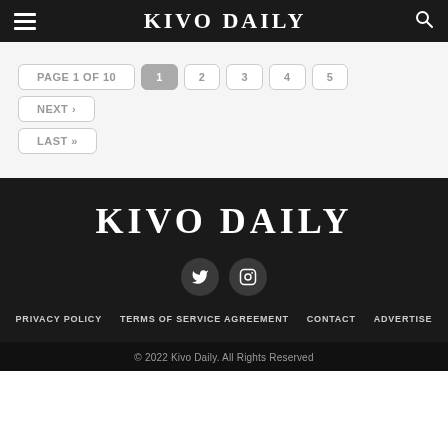KIVO DAILY
PAGE 1 OF 10 | 1 | 2 | 3 | 4 | 5 | NEXT › | LAST »
KIVO DAILY
[Figure (infographic): Twitter and Instagram social media icons as dark circle buttons]
PRIVACY POLICY   TERMS OF SERVICE AGREEMENT   CONTACT   ADVERTISE
© 2022 Kivo Daily. All Rights Reserved